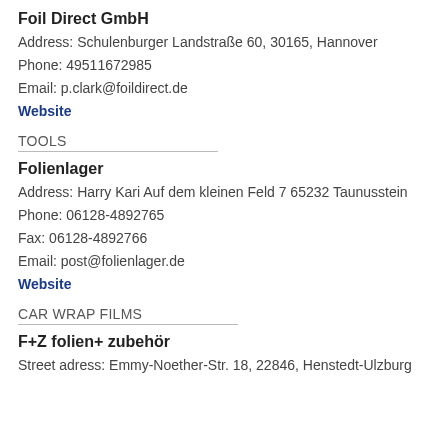Foil Direct GmbH
Address: Schulenburger Landstraße 60, 30165, Hannover
Phone: 49511672985
Email: p.clark@foildirect.de
Website
TOOLS
Folienlager
Address: Harry Kari Auf dem kleinen Feld 7 65232 Taunusstein
Phone: 06128-4892765
Fax: 06128-4892766
Email: post@folienlager.de
Website
CAR WRAP FILMS
F+Z folien+ zubehör
Street adress: Emmy-Noether-Str. 18, 22846, Henstedt-Ulzburg